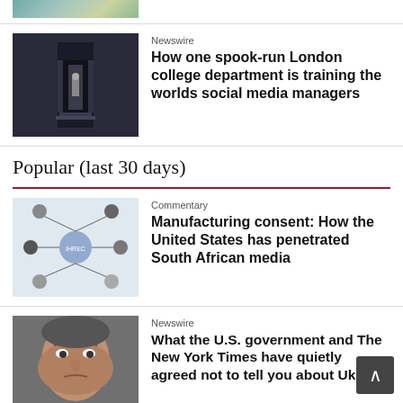[Figure (photo): Partial top image showing colorful/map-style graphic, cropped]
[Figure (photo): Person standing in doorway or dark architectural setting]
Newswire
How one spook-run London college department is training the worlds social media managers
Popular (last 30 days)
[Figure (photo): Network diagram with photos of people connected by lines]
Commentary
Manufacturing consent: How the United States has penetrated South African media
[Figure (photo): Close-up photo of a stern-looking man's face]
Newswire
What the U.S. government and The New York Times have quietly agreed not to tell you about Ukraine
[Figure (photo): Group of people with colorful flags or banners]
Newswire
China forgives 23 loans for 17 African